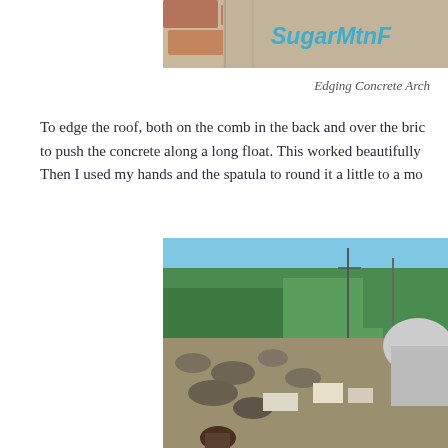[Figure (photo): Close-up photo of brick and concrete arch with SugarMtnF... blog header text in teal/cyan italic font]
Edging Concrete Arch
To edge the roof, both on the comb in the back and over the brick arch in the front, I used a trowel to push the concrete along a long float. This worked beautifully to get the top surface even and flat. Then I used my hands and the spatula to round it a little to a mo...
[Figure (photo): Outdoor construction site photo showing a rural landscape with trees, sky, scattered rocks and building materials, a white dome structure on the right, and a person in the foreground]